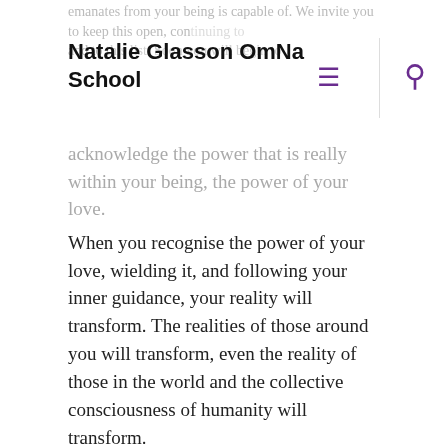Natalie Glasson OmNa School
emanates from your being is capable of. We invite you to keep this open, continuing to add to this list. Soon you will begin to acknowledge the power that is really within your being, the power of your love.
When you recognise the power of your love, wielding it, and following your inner guidance, your reality will transform. The realities of those around you will transform, even the reality of those in the world and the collective consciousness of humanity will transform.
We invite you in meditation to sit peacefully and focus on your unconditional eternal limitless love. You may wish to affirm, ‘I am the love of the Creator that is unconditional, eternal, and limitless.’
As you repeat this affirmation focus on the